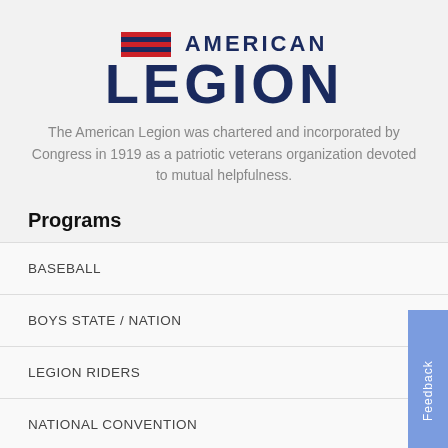[Figure (logo): American Legion logo with red and blue striped flag icon and bold navy text reading AMERICAN LEGION]
The American Legion was chartered and incorporated by Congress in 1919 as a patriotic veterans organization devoted to mutual helpfulness.
Programs
BASEBALL
BOYS STATE / NATION
LEGION RIDERS
NATIONAL CONVENTION
NATIONAL EMERGENCY FUND
OPERATION COMFORT WARRIORS